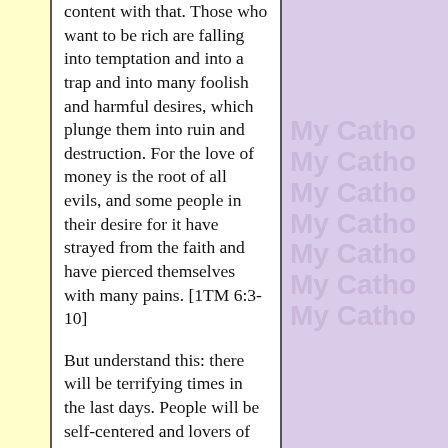content with that. Those who want to be rich are falling into temptation and into a trap and into many foolish and harmful desires, which plunge them into ruin and destruction. For the love of money is the root of all evils, and some people in their desire for it have strayed from the faith and have pierced themselves with many pains. [1TM 6:3-10]

But understand this: there will be terrifying times in the last days. People will be self-centered and lovers of money, proud, haughty, abusive, disobedient to their parents, ungrateful, irreligious, callous,
[Figure (other): Repeated watermark text 'My Catho' in light purple/lavender color arranged vertically on the right side of the page]